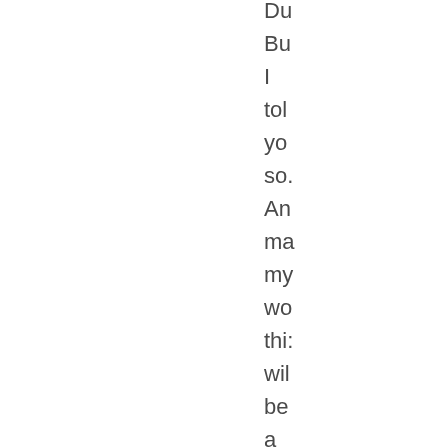Du Bu I told you so. And maybe my words this will be a for pol ele l